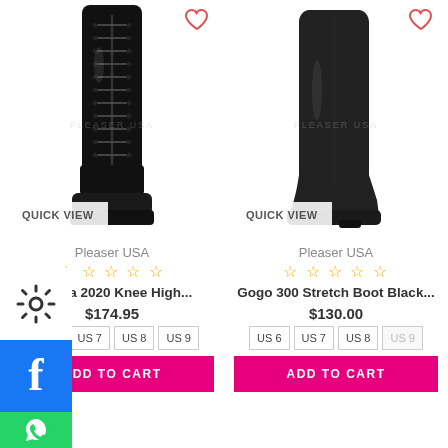[Figure (photo): Black patent lace-up knee-high platform boot by Pleaser USA (Electra 2020) on white background]
[Figure (photo): Black stretch knee-high boot by Pleaser USA (Gogo 300) on white background]
Pleaser USA
☆ ☆ ☆ ☆ ☆
Electra 2020 Knee High...
$174.95
US 6
US 7
US 8
US 9
ADD TO CART
Pleaser USA
☆ ☆ ☆ ☆ ☆
Gogo 300 Stretch Boot Black...
$130.00
US 6
US 7
US 8
US 9
ADD TO CART